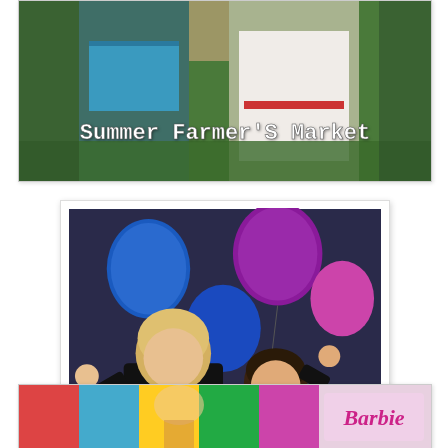[Figure (photo): Partial photo of children at Summer Farmer's Market, cropped at top. Shows legs of children outdoors on grass, one in blue shorts, one in white dress. White text overlay reads 'Summer Farmer's Market'.]
[Figure (photo): Two young children wearing medals around their necks, posing in front of colorful balloons (blue, purple, pink). The child on the left has blonde hair and wears a black shirt with teal/blue shorts. The child on the right wears a black shirt and white shorts. They are barefoot standing on a blue mat in what appears to be a gymnastics facility.]
[Figure (photo): Partial bottom photo showing colorful background with Barbie logo visible on right side.]